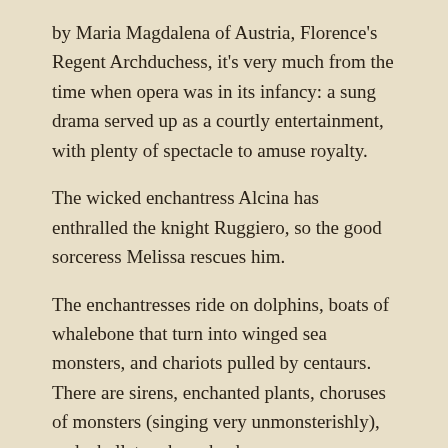by Maria Magdalena of Austria, Florence’s Regent Archduchess, it’s very much from the time when opera was in its infancy: a sung drama served up as a courtly entertainment, with plenty of spectacle to amuse royalty.
The wicked enchantress Alcina has enthralled the knight Ruggiero, so the good sorceress Melissa rescues him.
The enchantresses ride on dolphins, boats of whalebone that turn into winged sea monsters, and chariots pulled by centaurs.  There are sirens, enchanted plants, choruses of monsters (singing very unmonsterishly), and a ballet on horseback.
The style is rather like Monteverdi’s, whose Orfeo (1607) appeared less than 20 years earlier.  It’s largely ariose with the occasional trio. There’s some